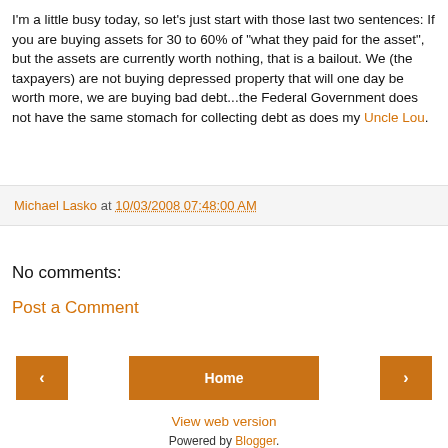I'm a little busy today, so let's just start with those last two sentences: If you are buying assets for 30 to 60% of "what they paid for the asset", but the assets are currently worth nothing, that is a bailout. We (the taxpayers) are not buying depressed property that will one day be worth more, we are buying bad debt...the Federal Government does not have the same stomach for collecting debt as does my Uncle Lou.
Michael Lasko at 10/03/2008 07:48:00 AM
No comments:
Post a Comment
< Home >
View web version
Powered by Blogger.